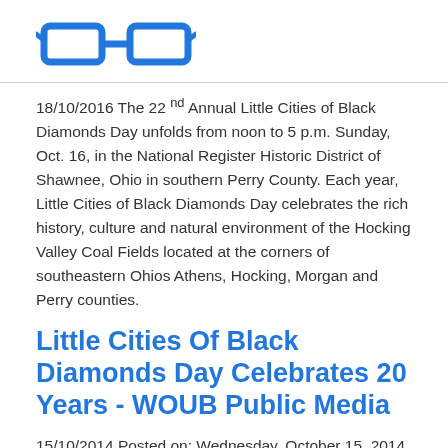[Figure (logo): Blue glasses/spectacles icon logo]
18/10/2016 The 22 nd Annual Little Cities of Black Diamonds Day unfolds from noon to 5 p.m. Sunday, Oct. 16, in the National Register Historic District of Shawnee, Ohio in southern Perry County. Each year, Little Cities of Black Diamonds Day celebrates the rich history, culture and natural environment of the Hocking Valley Coal Fields located at the corners of southeastern Ohios Athens, Hocking, Morgan and Perry counties.
Little Cities Of Black Diamonds Day Celebrates 20 Years - WOUB Public Media
15/10/2014 Posted on: Wednesday, October 15, 2014 < < Back to Shawnees National Register Historic District will come to life on Oct. 19 as Little Cities of Black Diamonds Day celebrates its 20th Anniversary.
14th Annual Little Cities of Black…